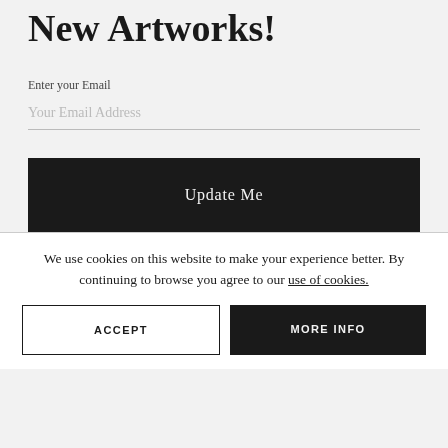New Artworks!
Enter your Email
Your Email Address
Update Me
We use cookies on this website to make your experience better. By continuing to browse you agree to our use of cookies.
ACCEPT
MORE INFO